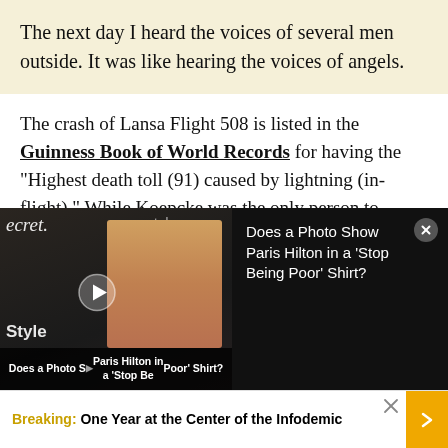The next day I heard the voices of several men outside. It was like hearing the voices of angels.
The crash of Lansa Flight 508 is listed in the Guinness Book of World Records for having the “Highest death toll (91) caused by lightning (in-flight).” While Koepcke was the only person to ultimately survive the ordeal, there’s evidence that some other passengers (including Koepcke’s
[Figure (screenshot): Video overlay showing a thumbnail of Paris Hilton with play button, branded with 'ecret.' and 'style' logos, caption reading 'Does a Photo Show Paris Hilton in a Stop Being Poor Shirt?' and 'Style' text at bottom left. Right panel shows black background with white text: 'Does a Photo Show Paris Hilton in a Stop Being Poor Shirt?' and a close/X button.]
Breaking: One Year at the Center of the Infodemic